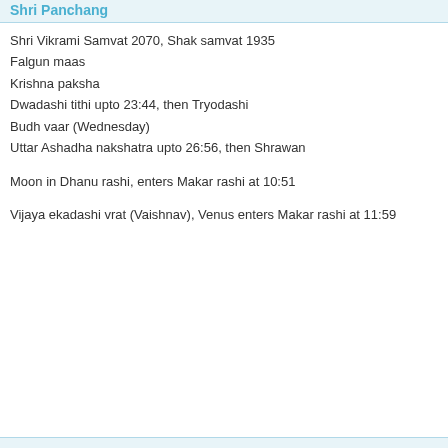Shri Panchang
Shri Vikrami Samvat 2070, Shak samvat 1935
Falgun maas
Krishna paksha
Dwadashi tithi upto 23:44, then Tryodashi
Budh vaar (Wednesday)
Uttar Ashadha nakshatra upto 26:56, then Shrawan
Moon in Dhanu rashi, enters Makar rashi at 10:51
Vijaya ekadashi vrat (Vaishnav), Venus enters Makar rashi at 11:59